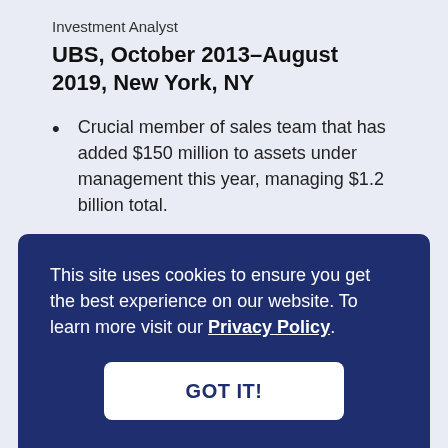Investment Analyst
UBS, October 2013–August 2019, New York, NY
Crucial member of sales team that has added $150 million to assets under management this year, managing $1.2 billion total.
Buy-side lead analyst in the acquisition of Company A for the portfolio. My analysis
This site uses cookies to ensure you get the best experience on our website. To learn more visit our Privacy Policy.
GOT IT!